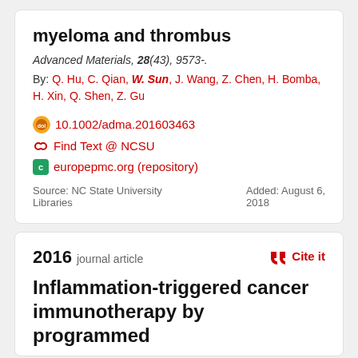myeloma and thrombus
Advanced Materials, 28(43), 9573-.
By: Q. Hu, C. Qian, W. Sun, J. Wang, Z. Chen, H. Bomba, H. Xin, Q. Shen, Z. Gu
10.1002/adma.201603463
Find Text @ NCSU
europepmc.org (repository)
Source: NC State University Libraries
Added: August 6, 2018
2016 journal article
Cite it
Inflammation-triggered cancer immunotherapy by programmed